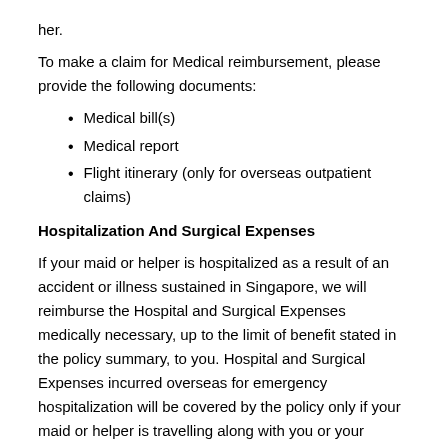her.
To make a claim for Medical reimbursement, please provide the following documents:
Medical bill(s)
Medical report
Flight itinerary (only for overseas outpatient claims)
Hospitalization And Surgical Expenses
If your maid or helper is hospitalized as a result of an accident or illness sustained in Singapore, we will reimburse the Hospital and Surgical Expenses medically necessary, up to the limit of benefit stated in the policy summary, to you. Hospital and Surgical Expenses incurred overseas for emergency hospitalization will be covered by the policy only if your maid or helper is travelling along with you or your family.
We will also reimburse you for your maid or helper's wages and